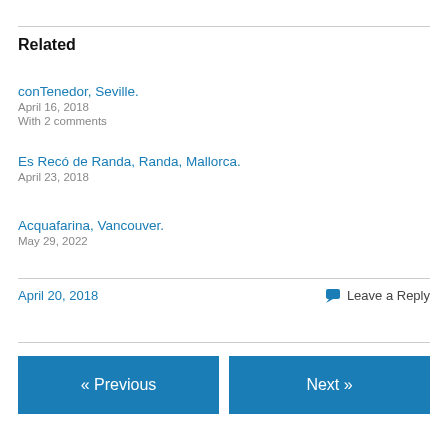Related
conTenedor, Seville.
April 16, 2018
With 2 comments
Es Recó de Randa, Randa, Mallorca.
April 23, 2018
Acquafarina, Vancouver.
May 29, 2022
April 20, 2018
💬 Leave a Reply
« Previous
Next »